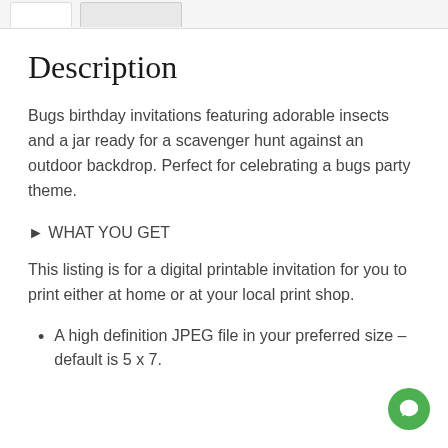[tab bar UI element]
Description
Bugs birthday invitations featuring adorable insects and a jar ready for a scavenger hunt against an outdoor backdrop. Perfect for celebrating a bugs party theme.
► WHAT YOU GET
This listing is for a digital printable invitation for you to print either at home or at your local print shop.
A high definition JPEG file in your preferred size – default is 5 x 7.